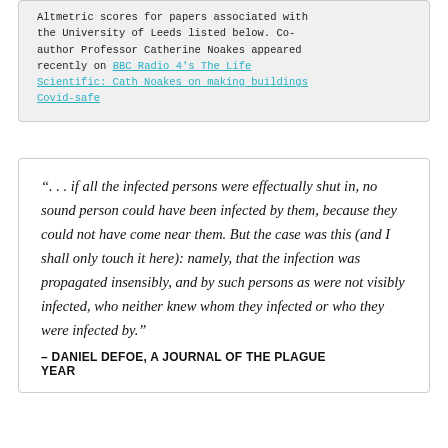Altmetric scores for papers associated with the University of Leeds listed below. Co-author Professor Catherine Noakes appeared recently on BBC Radio 4's The Life Scientific: Cath Noakes on making buildings Covid-safe
“. . . if all the infected persons were effectually shut in, no sound person could have been infected by them, because they could not have come near them. But the case was this (and I shall only touch it here): namely, that the infection was propagated insensibly, and by such persons as were not visibly infected, who neither knew whom they infected or who they were infected by.”
– DANIEL DEFOE, A JOURNAL OF THE PLAGUE YEAR